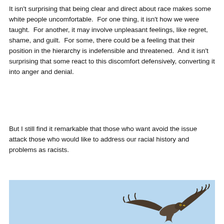It isn't surprising that being clear and direct about race makes some white people uncomfortable.  For one thing, it isn't how we were taught.  For another, it may involve unpleasant feelings, like regret, shame, and guilt.  For some, there could be a feeling that their position in the hierarchy is indefensible and threatened.  And it isn't surprising that some react to this discomfort defensively, converting it into anger and denial.
But I still find it remarkable that those who want avoid the issue attack those who would like to address our racial history and problems as racists.
[Figure (photo): A bird (appears to be a hawk or similar raptor) in flight against a light blue sky, photographed from below showing wing feathers spread.]